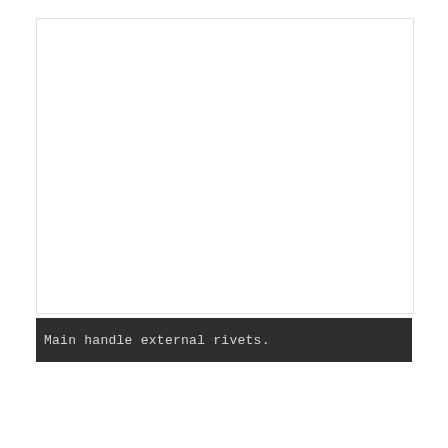[Figure (photo): Large white/blank area representing a photo or engineering image of main handle external rivets — content appears washed out or white in this rendering.]
Main handle external rivets.